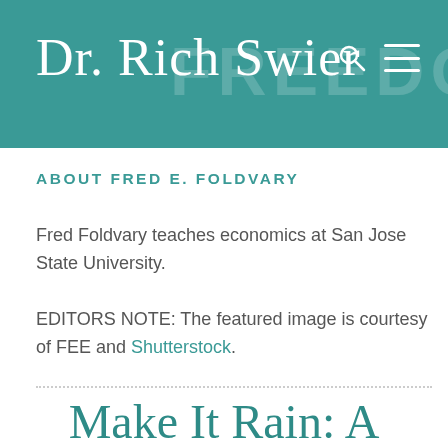Dr. Rich Swier
ABOUT FRED E. FOLDVARY
Fred Foldvary teaches economics at San Jose State University.
EDITORS NOTE: The featured image is courtesy of FEE and Shutterstock.
Make It Rain: A